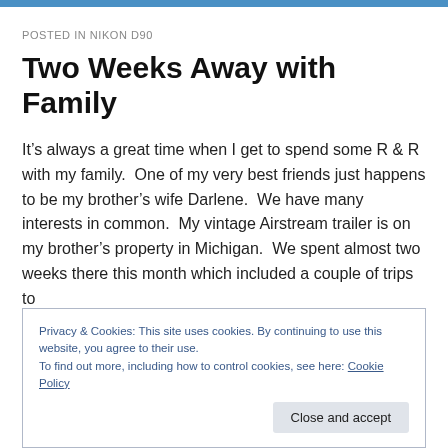POSTED IN NIKON D90
Two Weeks Away with Family
It's always a great time when I get to spend some R & R with my family.  One of my very best friends just happens to be my brother's wife Darlene.  We have many interests in common.  My vintage Airstream trailer is on my brother's property in Michigan.  We spent almost two weeks there this month which included a couple of trips to
Privacy & Cookies: This site uses cookies. By continuing to use this website, you agree to their use.
To find out more, including how to control cookies, see here: Cookie Policy